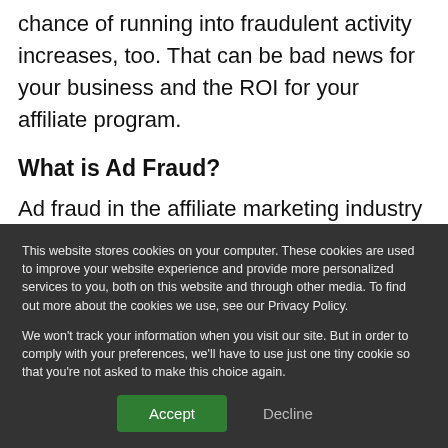chance of running into fraudulent activity increases, too. That can be bad news for your business and the ROI for your affiliate program.
What is Ad Fraud?
Ad fraud in the affiliate marketing industry is action that isn't what it appears to be. Instead of being generated by interested consumers, as it should be, it's ad traffic and site conversion that
This website stores cookies on your computer. These cookies are used to improve your website experience and provide more personalized services to you, both on this website and through other media. To find out more about the cookies we use, see our Privacy Policy.
We won't track your information when you visit our site. But in order to comply with your preferences, we'll have to use just one tiny cookie so that you're not asked to make this choice again.
Accept
Decline